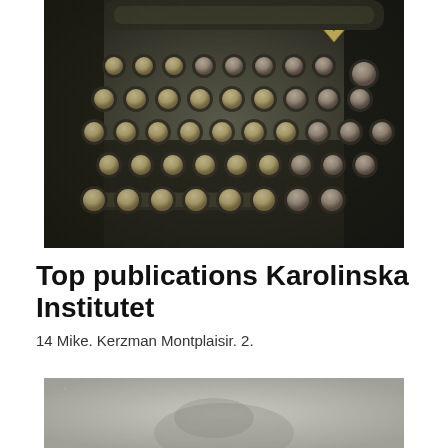[Figure (photo): Close-up photograph of vintage typewriter keys, black and dark tones with aged cream-coloured round keys, top-down perspective]
Top publications Karolinska Institutet
14 Mike. Kerzman Montplaisir. 2.
[Figure (photo): Partial photograph of a person or object on a light grey/white background, mostly out of focus]